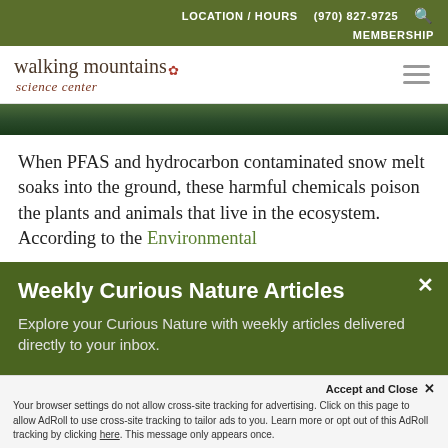LOCATION / HOURS   (970) 827-9725   🔍   MEMBERSHIP
[Figure (logo): Walking Mountains Science Center logo with footprint icon]
[Figure (photo): Dark forest/nature image strip]
When PFAS and hydrocarbon contaminated snow melt soaks into the ground, these harmful chemicals poison the plants and animals that live in the ecosystem. According to the Environmental
Weekly Curious Nature Articles
Explore your Curious Nature with weekly articles delivered directly to your inbox.
Accept and Close ✕
Your browser settings do not allow cross-site tracking for advertising. Click on this page to allow AdRoll to use cross-site tracking to tailor ads to you. Learn more or opt out of this AdRoll tracking by clicking here. This message only appears once.